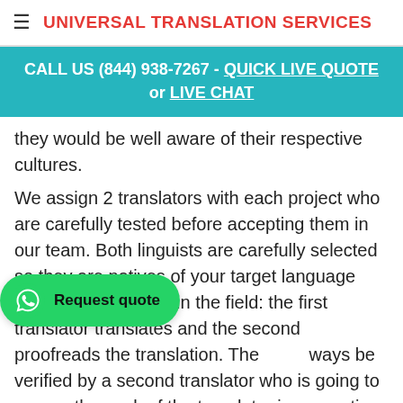≡ UNIVERSAL TRANSLATION SERVICES
[Figure (infographic): Teal banner with text: CALL US (844) 938-7267 - QUICK LIVE QUOTE or LIVE CHAT]
they would be well aware of their respective cultures.
We assign 2 translators with each project who are carefully tested before accepting them in our team. Both linguists are carefully selected so they are natives of your target language and are well-versed in the field: the first translator translates and the second proofreads the translation. The ... always be verified by a second translator who is going to ensure the work of the translator is ... ting the translation and comparing it with ... e translation is finally checked by or quality assurance team which sends the output to the client along with a quality report.
[Figure (infographic): WhatsApp Request quote green button overlay]
[Figure (infographic): Google Rating badge showing 5.0 with 5 stars]
[Figure (infographic): Scroll to top dark circular button with up arrow]